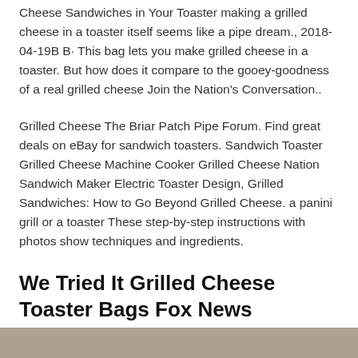Cheese Sandwiches in Your Toaster making a grilled cheese in a toaster itself seems like a pipe dream., 2018-04-19B B· This bag lets you make grilled cheese in a toaster. But how does it compare to the gooey-goodness of a real grilled cheese Join the Nation's Conversation..
Grilled Cheese The Briar Patch Pipe Forum. Find great deals on eBay for sandwich toasters. Sandwich Toaster Grilled Cheese Machine Cooker Grilled Cheese Nation Sandwich Maker Electric Toaster Design, Grilled Sandwiches: How to Go Beyond Grilled Cheese. a panini grill or a toaster These step-by-step instructions with photos show techniques and ingredients.
We Tried It Grilled Cheese Toaster Bags Fox News
[Figure (photo): Partial image strip visible at the bottom of the page, appears to be a food or cooking related photograph.]